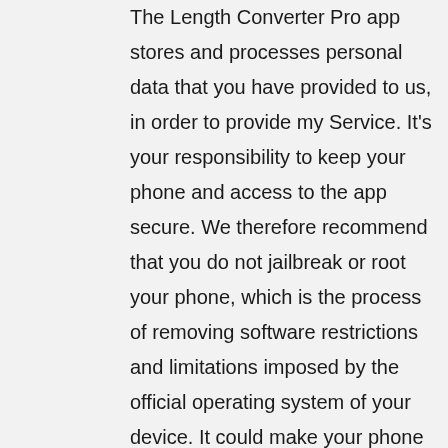The Length Converter Pro app stores and processes personal data that you have provided to us, in order to provide my Service. It's your responsibility to keep your phone and access to the app secure. We therefore recommend that you do not jailbreak or root your phone, which is the process of removing software restrictions and limitations imposed by the official operating system of your device. It could make your phone vulnerable to malware/viruses/malicious programs, compromise your phone's security features and it could mean that the Length Converter Pro app won't work properly or at all.
You should be aware that there are certain things that Arron Fitch will not take